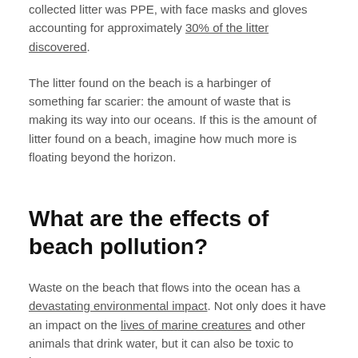collected litter was PPE, with face masks and gloves accounting for approximately 30% of the litter discovered.
The litter found on the beach is a harbinger of something far scarier: the amount of waste that is making its way into our oceans. If this is the amount of litter found on a beach, imagine how much more is floating beyond the horizon.
What are the effects of beach pollution?
Waste on the beach that flows into the ocean has a devastating environmental impact. Not only does it have an impact on the lives of marine creatures and other animals that drink water, but it can also be toxic to humans.